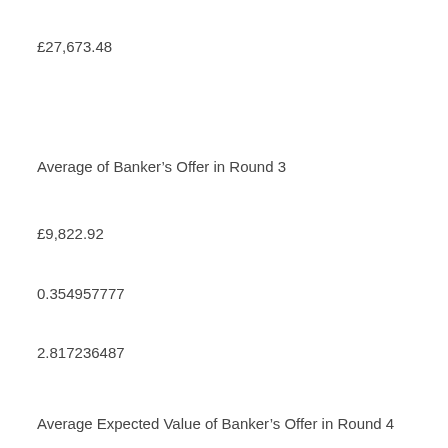£27,673.48
Average of Banker's Offer in Round 3
£9,822.92
0.354957777
2.817236487
Average Expected Value of Banker's Offer in Round 4